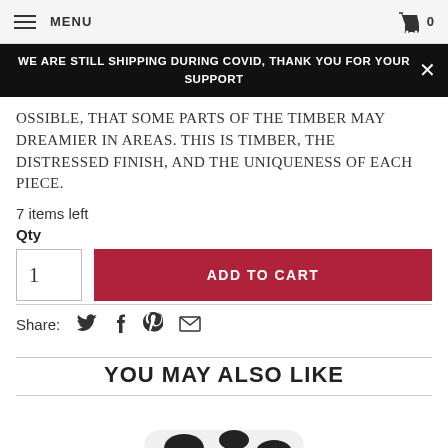MENU   0
WE ARE STILL SHIPPING DURING COVID, THANK YOU FOR YOUR SUPPORT
OSSIBLE, THAT SOME PARTS OF THE TIMBER MAY DREAMIER IN AREAS. THIS IS TIMBER, THE DISTRESSED FINISH, AND THE UNIQUENESS OF EACH PIECE.
7 items left
Qty
1   ADD TO CART
Share:
YOU MAY ALSO LIKE
[Figure (photo): Black and white cowhide ottoman/footstool product image, partially visible at the bottom of the page]